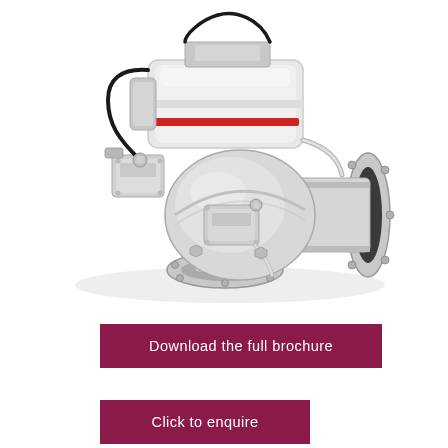[Figure (photo): Industrial pneumatic actuated ball valve or control valve assembly in white and stainless steel finish, with flanged pipe connections, black cables, and various fittings, photographed on white background at an angle.]
Download the full brochure
Click to enquire